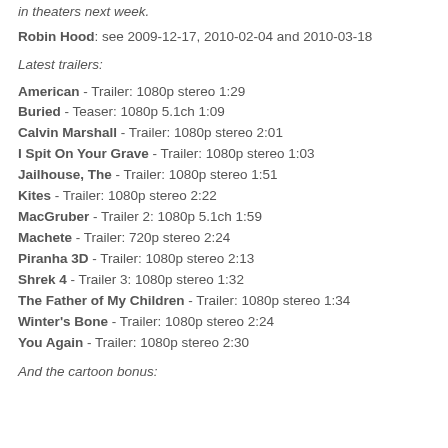in theaters next week.
Robin Hood: see 2009-12-17, 2010-02-04 and 2010-03-18
Latest trailers:
American - Trailer: 1080p stereo 1:29
Buried - Teaser: 1080p 5.1ch 1:09
Calvin Marshall - Trailer: 1080p stereo 2:01
I Spit On Your Grave - Trailer: 1080p stereo 1:03
Jailhouse, The - Trailer: 1080p stereo 1:51
Kites - Trailer: 1080p stereo 2:22
MacGruber - Trailer 2: 1080p 5.1ch 1:59
Machete - Trailer: 720p stereo 2:24
Piranha 3D - Trailer: 1080p stereo 2:13
Shrek 4 - Trailer 3: 1080p stereo 1:32
The Father of My Children - Trailer: 1080p stereo 1:34
Winter's Bone - Trailer: 1080p stereo 2:24
You Again - Trailer: 1080p stereo 2:30
And the cartoon bonus: